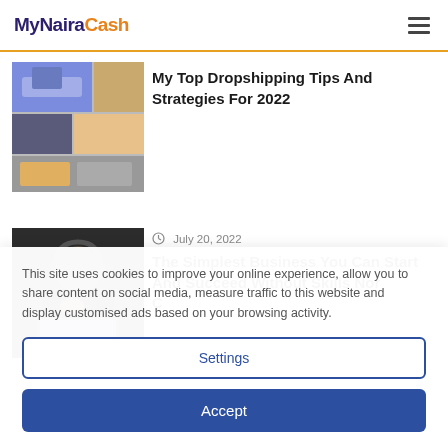MyNairaCash
[Figure (screenshot): Thumbnail image of dropshipping article showing website/product screenshots]
My Top Dropshipping Tips And Strategies For 2022
[Figure (photo): Photo of a young man wearing headphones, sitting at a laptop, thinking with hands clasped]
July 20, 2022
The Simplest Business You Can Start And Succeed Without Skills Nor Capital
This site uses cookies to improve your online experience, allow you to share content on social media, measure traffic to this website and display customised ads based on your browsing activity.
Settings
Accept